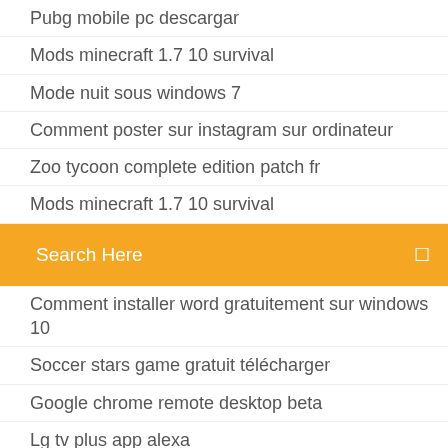Pubg mobile pc descargar
Mods minecraft 1.7 10 survival
Mode nuit sous windows 7
Comment poster sur instagram sur ordinateur
Zoo tycoon complete edition patch fr
Mods minecraft 1.7 10 survival
Search Here
Comment installer word gratuitement sur windows 10
Soccer stars game gratuit télécharger
Google chrome remote desktop beta
Lg tv plus app alexa
The settlers 7 paths to a kingdom cestina télécharger
Driver hp psc 1315 all in one télécharger
Revo uninstaller pro portable keygen
Logiciel montage audio video gratuit francais
Cars 2 movie télécharger in tamil dubbed
Suggestion damis facebook fonctionnement